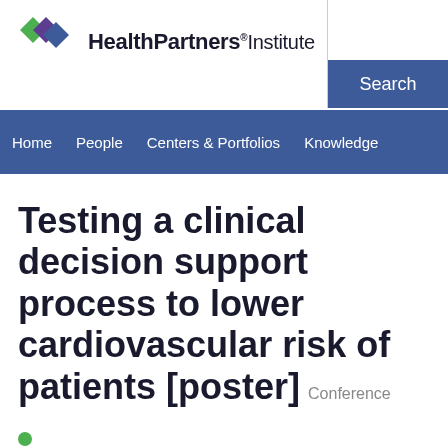[Figure (logo): HealthPartners Institute logo with overlapping diamond shapes in green and purple, followed by text 'HealthPartners Institute']
Search
Home   People   Centers & Portfolios   Knowledge
Testing a clinical decision support process to lower cardiovascular risk of patients [poster]
Conference